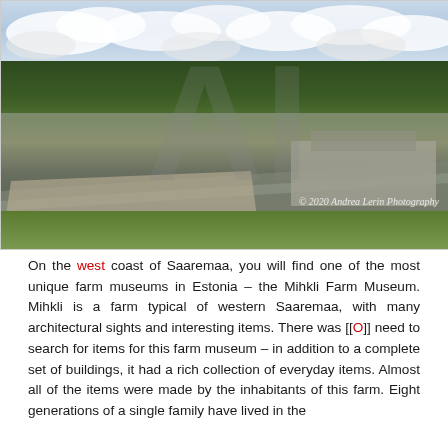[Figure (photo): Aerial drone photograph of the Mihkli Farm Museum area on the west coast of Saaremaa, Estonia. Shows a bird's-eye view of a rural landscape with dense green forest/treeline in the background, a road curving through the scene, a parking area with cars on the left, farm buildings on the right, and green fields in the foreground. Sky with clouds at top. Watermark 'AI' overlay visible. Copyright watermark reads '© 2020 Andrea Lerin Photography' in bottom right corner.]
On the west coast of Saaremaa, you will find one of the most unique farm museums in Estonia – the Mihkli Farm Museum. Mihkli is a farm typical of western Saaremaa, with many architectural sights and interesting items. There was [[O]] need to search for items for this farm museum – in addition to a complete set of buildings, it had a rich collection of everyday items. Almost all of the items were made by the inhabitants of this farm. Eight generations of a single family have lived in the